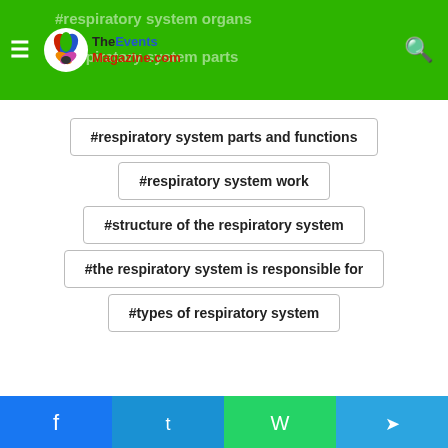TheEventsMagazine.com - #respiratory system organs / #respiratory system parts
#respiratory system parts and functions
#respiratory system work
#structure of the respiratory system
#the respiratory system is responsible for
#types of respiratory system
[Figure (screenshot): Social share buttons: Facebook, Twitter, LinkedIn, Tumblr, Pinterest, Reddit, VK, Email, Copy; and a scroll-to-top button]
Mobile share bar: Facebook, Twitter, WhatsApp, Telegram